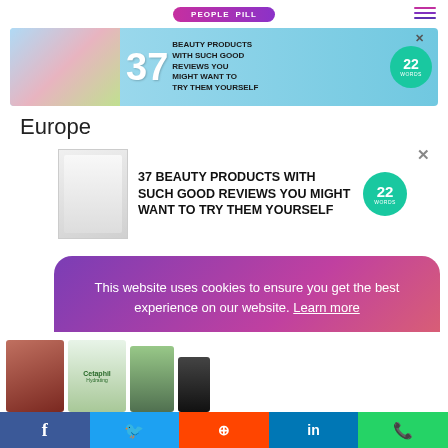[Figure (screenshot): Website navigation bar with purple pill-shaped logo reading PEOPLE PILL and hamburger menu icon]
[Figure (screenshot): Top banner advertisement: 37 BEAUTY PRODUCTS WITH SUCH GOOD REVIEWS YOU MIGHT WANT TO TRY THEM YOURSELF, with product images and 22 Words badge on teal background]
Europe
[Figure (screenshot): Middle advertisement: 37 BEAUTY PRODUCTS WITH SUCH GOOD REVIEWS YOU MIGHT WANT TO TRY THEM YOURSELF with product image and 22 Words teal badge]
This website uses cookies to ensure you get the best experience on our website. Learn more
Got it!
[Figure (screenshot): Bottom row of product images including skincare products]
[Figure (screenshot): Social media share bar with Facebook, Twitter, Reddit, LinkedIn, and WhatsApp buttons]